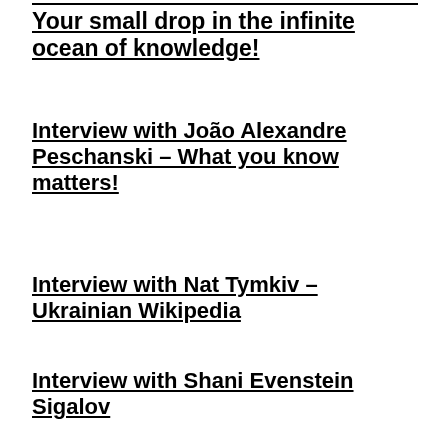Your small drop in the infinite ocean of knowledge!
Interview with João Alexandre Peschanski – What you know matters!
Interview with Nat Tymkiv – Ukrainian Wikipedia
Interview with Shani Evenstein Sigalov